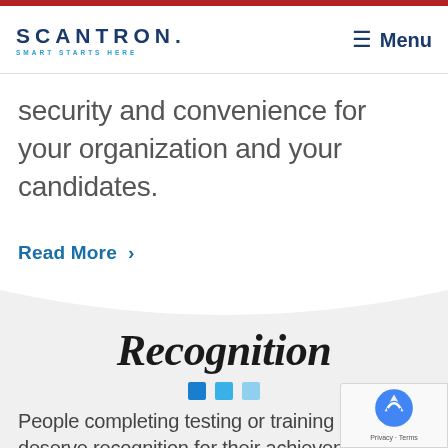SCANTRON. SMART STARTS HERE — Menu
security and convenience for your organization and your candidates.
Read More >
Recognition
People completing testing or training deserve recognition for their achievement. Scantron offers two forms of recognition to serve its clients' stakeholders: certificates and